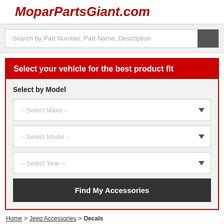MoparPartsGiant.com
Search by Part Number, Part Name, Description
Select your vehicle for the best product fit
Select by Model
-- Select Make --
-- Select Model --
-- Select Year --
Find My Accessories
Home > Jeep Accessories > Decals